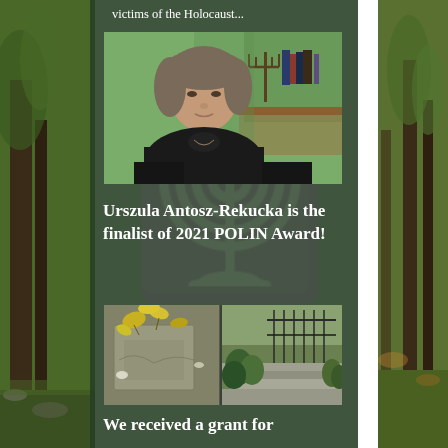victims of the Holocaust...
[Figure (photo): Portrait of a middle-aged woman with short grey-brown hair wearing a black turtleneck, seated in front of a green wall with a menorah and books in the background]
Urszula Antosz-Rekucka is the finalist of 2021 POLIN Award!
[Figure (photo): Two photos of a Jewish cemetery: left shows close-up of a damaged gravestone with yellow leaves; right shows stone steps with green shrubs and a fence in the background]
We received a grant for